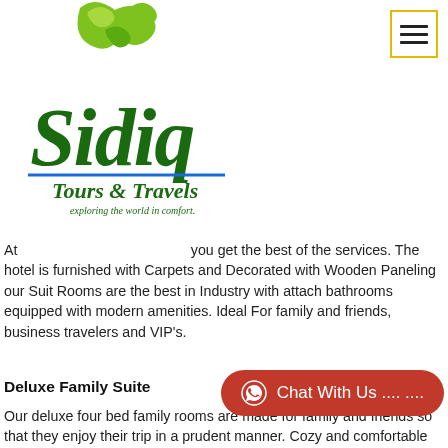[Figure (logo): Sidiq Tours & Travels logo — green decorative script lettering with flourish above, blue underline, tagline 'exploring the world in comfort.']
[Figure (other): Hamburger menu button — three horizontal bars inside a yellow-bordered square box]
At Sidiq Tours & Travels you get the best of the services. The hotel is furnished with Carpets and Decorated with Wooden Paneling our Suit Rooms are the best in Industry with attach bathrooms equipped with modern amenities. Ideal For family and friends, business travelers and VIP's.
Deluxe Family Suite
Our deluxe four bed family rooms are made for family and friends so that they enjoy their trip in a prudent manner. Cozy and comfortable enough to cater your needs. Book a Stay with us and feel the difference we have kept our price affordable with out any compromise on service.
Dining
Our Menu includes Indian | Continental | Mughalie | Kashmiri and Special Veg
[Figure (other): Red rounded pill-shaped Chat With Us button with WhatsApp icon]